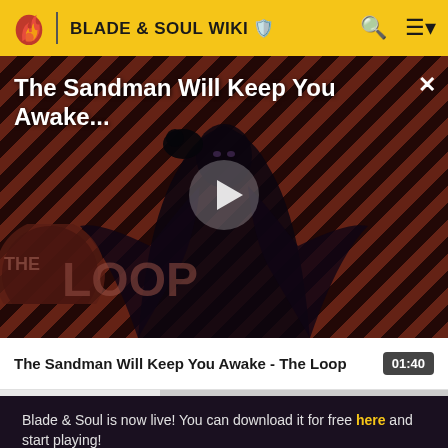BLADE & SOUL WIKI
[Figure (screenshot): Video player showing 'The Sandman Will Keep You Awake...' with a dark-cloaked figure against red diagonal striped background, The Loop branding visible, with a play button overlay]
The Sandman Will Keep You Awake - The Loop  01:40
Blade & Soul is now live! You can download it for free here and start playing!